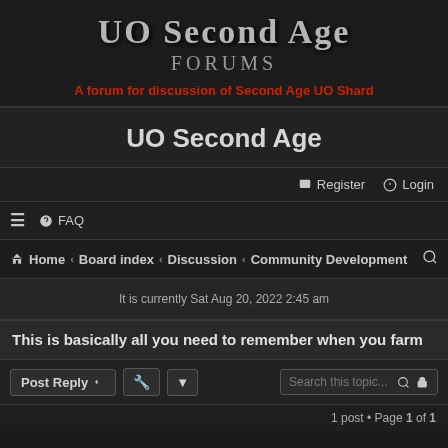UO Second Age Forums — A forum for discussion of Second Age UO Shard
UO Second Age
Register  Login
≡  FAQ
Home › Board index › Discussion › Community Development
It is currently Sat Aug 20, 2022 2:45 am
This is basically all you need to remember when you farm
Post Reply   [tools]   Search this topic...   1 post • Page 1 of 1